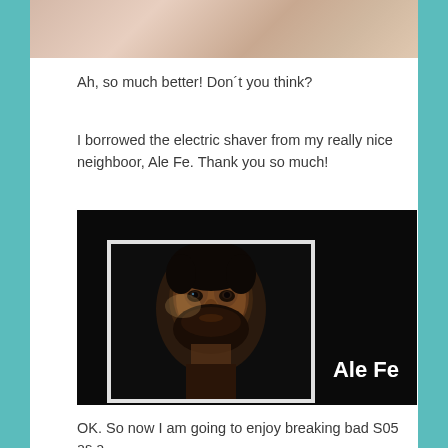[Figure (photo): Partial photo at top of page showing skin/body, cropped]
Ah, so much better! Don´t you think?
I borrowed the electric shaver from my really nice neighboor, Ale Fe. Thank you so much!
[Figure (photo): Photo of a man with a beard in a dark framed picture on a dark background, with text 'Ale Fe' in white on the right side]
OK. So now I am going to enjoy breaking bad S05 as a